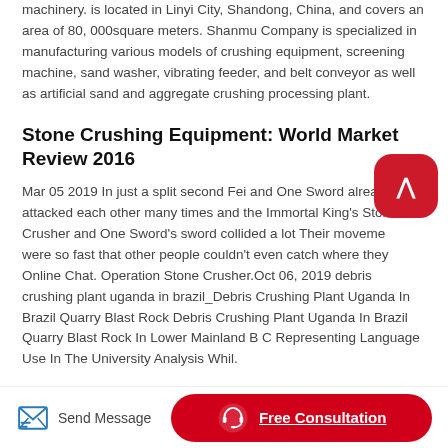machinery. is located in Linyi City, Shandong, China, and covers an area of 80, 000square meters. Shanmu Company is specialized in manufacturing various models of crushing equipment, screening machine, sand washer, vibrating feeder, and belt conveyor as well as artificial sand and aggregate crushing processing plant.
Stone Crushing Equipment: World Market Review 2016
Mar 05 2019 In just a split second Fei and One Sword already attacked each other many times and the Immortal King's Stone Crusher and One Sword's sword collided a lot Their movements were so fast that other people couldn't even catch where they Online Chat. Operation Stone Crusher.Oct 06, 2019 debris crushing plant uganda in brazil_Debris Crushing Plant Uganda In Brazil Quarry Blast Rock Debris Crushing Plant Uganda In Brazil Quarry Blast Rock In Lower Mainland B C Representing Language Use In The University Analysis Whil.
Related News & Tips